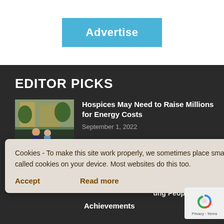[Figure (other): Blue 'Advertise' button banner at top of page]
EDITOR PICKS
[Figure (photo): Two people standing outside a building, thumbnail image]
Hospices May Need to Raise Millions for Energy Costs
September 1, 2022
ermarking
Cookies - To make this site work properly, we sometimes place small data files called cookies on your device. Most websites do this too.
Accept
Read more
ung Peop
Achievements
[Figure (logo): Google reCAPTCHA badge with Privacy and Terms links]